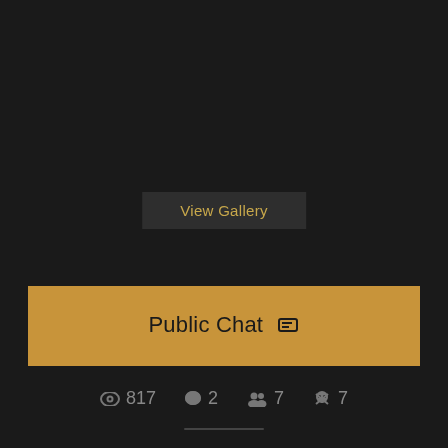[Figure (screenshot): View Gallery button on dark background]
View Gallery
Public Chat ☖
👁 817  💬 2  👥 7  ☠ 7